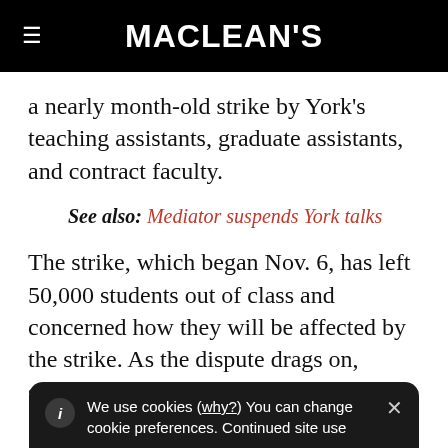MACLEAN'S
a nearly month-old strike by York's teaching assistants, graduate assistants, and contract faculty.
See also: Mediator suspends York talks
The strike, which began Nov. 6, has left 50,000 students out of class and concerned how they will be affected by the strike. As the dispute drags on, students are
We use cookies (why?) You can change cookie preferences. Continued site use